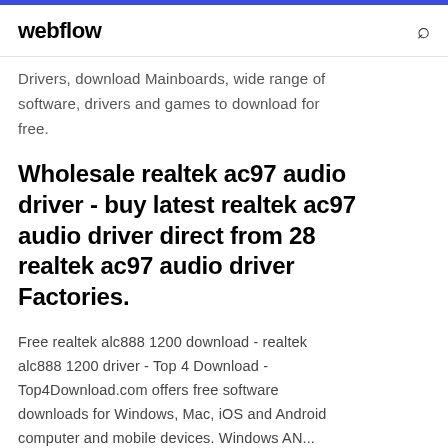webflow
Drivers, download Mainboards, wide range of software, drivers and games to download for free.
Wholesale realtek ac97 audio driver - buy latest realtek ac97 audio driver direct from 28 realtek ac97 audio driver Factories.
Free realtek alc888 1200 download - realtek alc888 1200 driver - Top 4 Download - Top4Download.com offers free software downloads for Windows, Mac, iOS and Android computer and mobile devices. Windows AN...